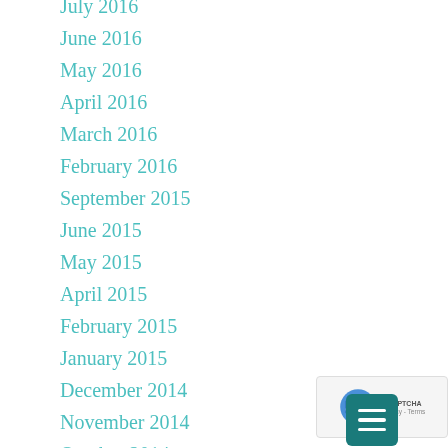July 2016
June 2016
May 2016
April 2016
March 2016
February 2016
September 2015
June 2015
May 2015
April 2015
February 2015
January 2015
December 2014
November 2014
October 2014
September 2014
August 2014
July 2014
June 2014
April 2014
February 2014